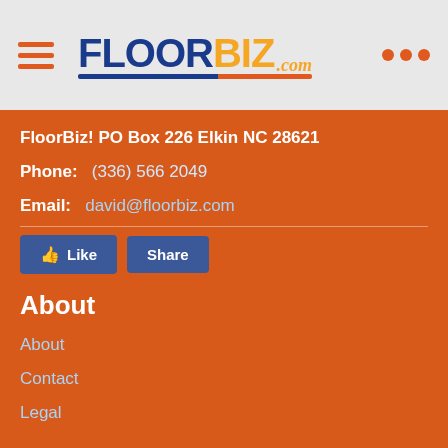FloorBiz.com
FloorBiz! PO Box 226 Elkin NC 28621
Phone:  (336) 566 2049
Email:  david@floorbiz.com
[Figure (other): Facebook Like and Share buttons]
About
About
Contact
Legal